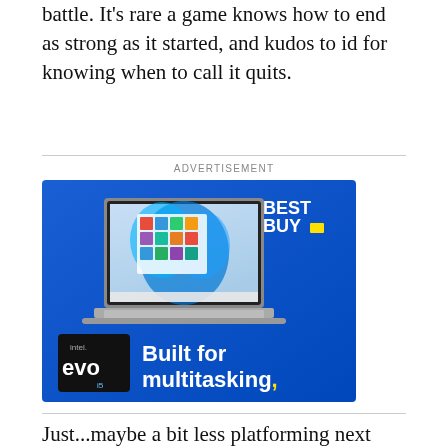battle. It's rare a game knows how to end as strong as it started, and kudos to id for knowing when to call it quits.
ADVERTISEMENT
[Figure (photo): Best Buy advertisement featuring a laptop with Windows 11 and Intel Evo i5 branding. Blue background with text 'Built for multitasking,' and Best Buy logo in upper right corner.]
Just...maybe a bit less platforming next time.